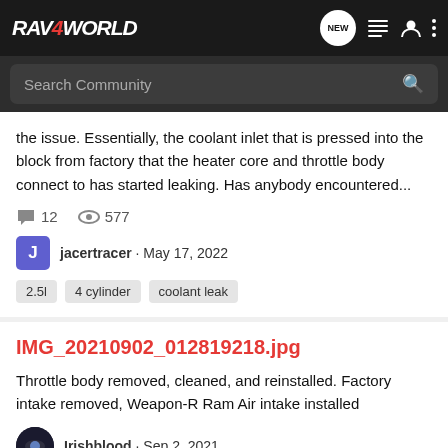RAV4WORLD
the issue. Essentially, the coolant inlet that is pressed into the block from factory that the heater core and throttle body connect to has started leaking. Has anybody encountered...
12 comments  577 views
jacertracer · May 17, 2022
2.5l
4 cylinder
coolant leak
IMG_20210902_012819218.jpg
Throttle body removed, cleaned, and reinstalled. Factory intake removed, Weapon-R Ram Air intake installed
Irishblood · Sep 2, 2021
2.5l
cheep diy projects
clean throttle body
free hp